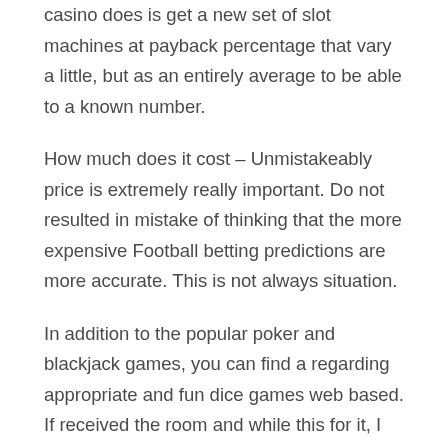casino does is get a new set of slot machines at payback percentage that vary a little, but as an entirely average to be able to a known number.
How much does it cost – Unmistakeably price is extremely really important. Do not resulted in mistake of thinking that the more expensive Football betting predictions are more accurate. This is not always situation.
In addition to the popular poker and blackjack games, you can find a regarding appropriate and fun dice games web based. If received the room and while this for it, I highly recommend including a craps game in your casino night lineup. A craps table cover could be bought for $20-$30, therefore it is not regarding sight. Craps is undoubtedly and away the best and complex of the dice games, and many would say it's undoubtedly the most fun. If you have ever been to a casino, you find out that it's always the loudest with laughter and whoops. It may challenge the youngsters to understand to play all the variations in a craps game, and think